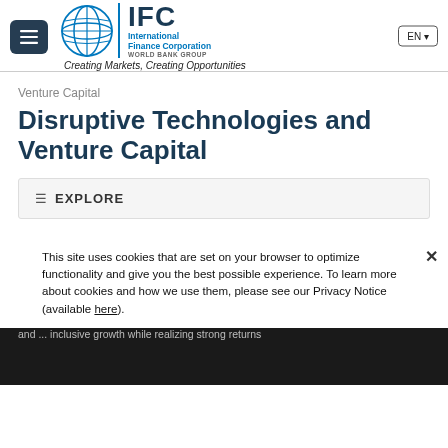IFC - International Finance Corporation | WORLD BANK GROUP | Creating Markets, Creating Opportunities | EN
Venture Capital
Disruptive Technologies and Venture Capital
≡ EXPLORE
Share this page
This site uses cookies that are set on your browser to optimize functionality and give you the best possible experience. To learn more about cookies and how we use them, please see our Privacy Notice (available here).
IFC ... new opportunities ... industries, and ... inclusive growth while realizing strong returns